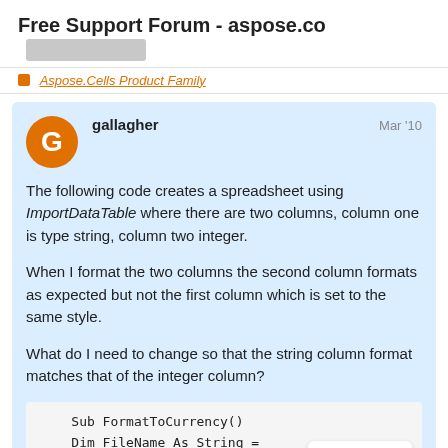Free Support Forum - aspose.com
Aspose.Cells Product Family
gallagher   Mar '10
The following code creates a spreadsheet using ImportDataTable where there are two columns, column one is type string, column two integer.

When I format the two columns the second column formats as expected but not the first column which is set to the same style.

What do I need to change so that the string column format matches that of the integer column?
Sub FormatToCurrency()

    Dim FileName As String =
1 / 3